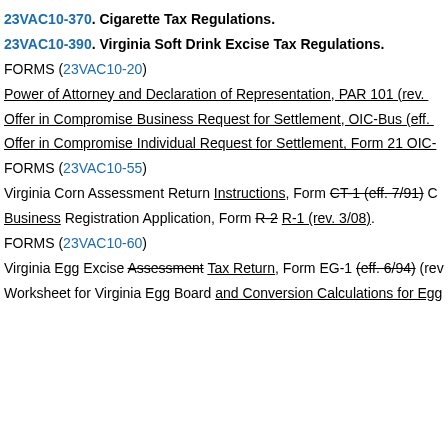23VAC10-370. Cigarette Tax Regulations.
23VAC10-390. Virginia Soft Drink Excise Tax Regulations.
FORMS (23VAC10-20)
Power of Attorney and Declaration of Representation, PAR 101 (rev. …
Offer in Compromise Business Request for Settlement, OIC-Bus (eff. …
Offer in Compromise Individual Request for Settlement, Form 21 OIC-…
FORMS (23VAC10-55)
Virginia Corn Assessment Return Instructions, Form CT-1 (eff. 7/91) C…
Business Registration Application, Form R-2 R-1 (rev. 3/08).
FORMS (23VAC10-60)
Virginia Egg Excise Assessment Tax Return, Form EG-1 (eff. 6/94) (rev…
Worksheet for Virginia Egg Board and Conversion Calculations for Egg…